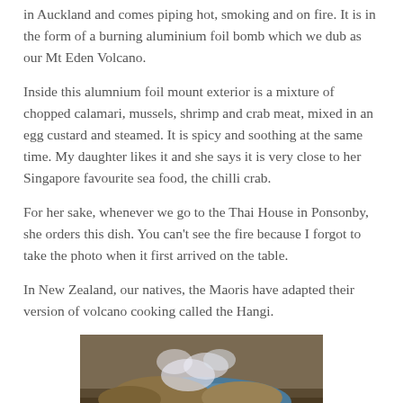in Auckland and comes piping hot, smoking and on fire. It is in the form of a burning aluminium foil bomb which we dub as our Mt Eden Volcano.
Inside this alumnium foil mount exterior is a mixture of chopped calamari, mussels, shrimp and crab meat, mixed in an egg custard and steamed. It is spicy and soothing at the same time. My daughter likes it and she says it is very close to her Singapore favourite sea food, the chilli crab.
For her sake, whenever we go to the Thai House in Ponsonby, she orders this dish. You can't see the fire because I forgot to take the photo when it first arrived on the table.
In New Zealand, our natives, the Maoris have adapted their version of volcano cooking called the Hangi.
[Figure (photo): A photograph of a Hangi cooking method showing wrapped food bundles on the ground covered with burlap sacks and blue plastic sheeting with steam rising.]